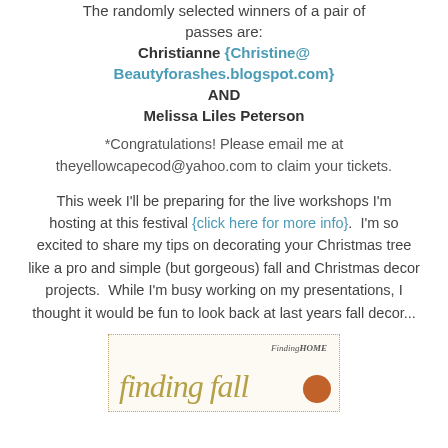The randomly selected winners of a pair of passes are:
Christianne {Christine@Beautyforashes.blogspot.com}
AND
Melissa Liles Peterson
*Congratulations! Please email me at theyellowcapecod@yahoo.com to claim your tickets.
This week I'll be preparing for the live workshops I'm hosting at this festival {click here for more info}.  I'm so excited to share my tips on decorating your Christmas tree like a pro and simple (but gorgeous) fall and Christmas decor projects.  While I'm busy working on my presentations, I thought it would be fun to look back at last years fall decor...
[Figure (photo): A decorative image with cursive text 'finding fall' in gold/olive color, with 'FindingHOME' text in top right corner and a round pumpkin/orange circle at bottom right, bordered with a dotted line on cream background.]